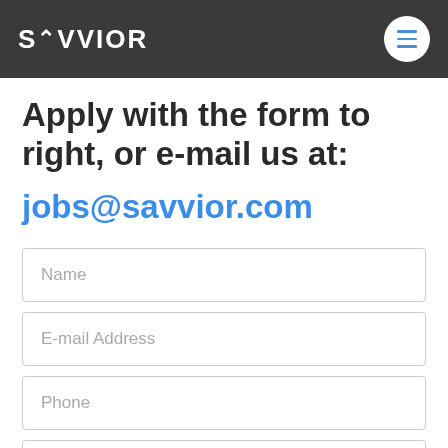SAVVIOR
Apply with the form to right, or e-mail us at:
jobs@savvior.com
[Figure (screenshot): Web form with three visible input fields: Name, E-mail Address, Phone, and a partial fourth field]